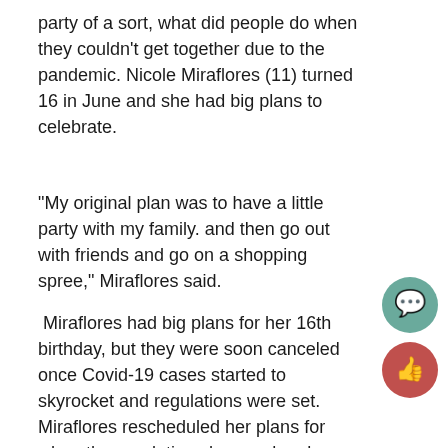party of a sort, what did people do when they couldn't get together due to the pandemic. Nicole Miraflores (11) turned 16 in June and she had big plans to celebrate.
“My original plan was to have a little party with my family. and then go out with friends and go on a shopping spree,” Miraflores said.
Miraflores had big plans for her 16th birthday, but they were soon canceled once Covid-19 cases started to skyrocket and regulations were set. Miraflores rescheduled her plans for when the regulations have calmed down, and we are able to be in groups of people safely.